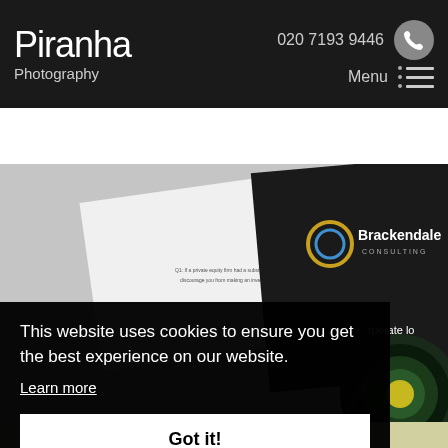Piranha Photography — 020 7193 9446
[Figure (screenshot): Photo of printed marketing brochures and documents including a Brackendale Consulting booklet and camera lens]
This website uses cookies to ensure you get the best experience on our website.
Learn more
Got it!